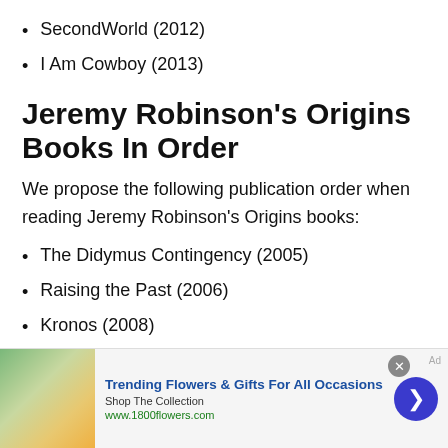SecondWorld (2012)
I Am Cowboy (2013)
Jeremy Robinson's Origins Books In Order
We propose the following publication order when reading Jeremy Robinson's Origins books:
The Didymus Contingency (2005)
Raising the Past (2006)
Kronos (2008)
[Figure (infographic): Advertisement banner for 1800flowers.com: Trending Flowers & Gifts For All Occasions. Shop The Collection. www.1800flowers.com. Shows a woman with flowers, close button, and arrow navigation button.]